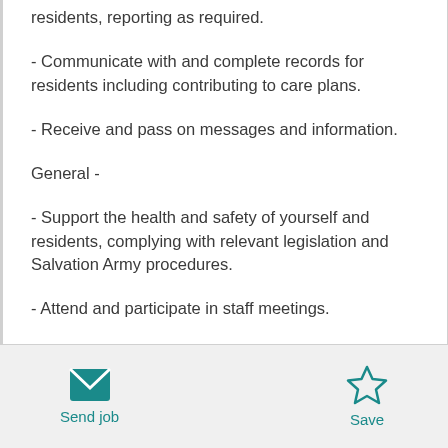residents, reporting as required.
- Communicate with and complete records for residents including contributing to care plans.
- Receive and pass on messages and information.
General -
- Support the health and safety of yourself and residents, complying with relevant legislation and Salvation Army procedures.
- Attend and participate in staff meetings.
Send job   Save